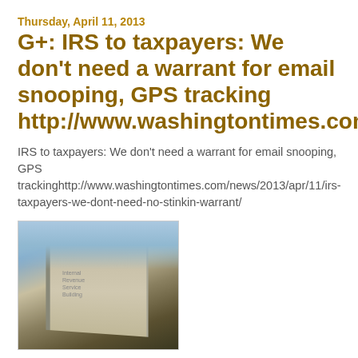Thursday, April 11, 2013
G+: IRS to taxpayers: We don't need a warrant for email snooping, GPS tracking http://www.washingtontimes.com...
IRS to taxpayers: We don't need a warrant for email snooping, GPS trackinghttp://www.washingtontimes.com/news/2013/apr/11/irs-taxpayers-we-dont-need-no-stinkin-warrant/
[Figure (photo): Photo of a government building exterior, showing classical stone columns and architecture with a sign on the building, blue sky with clouds in background.]
IRS attorneys have asserted in internal documents that the Fourth Amendment does not protect email and that a warrant